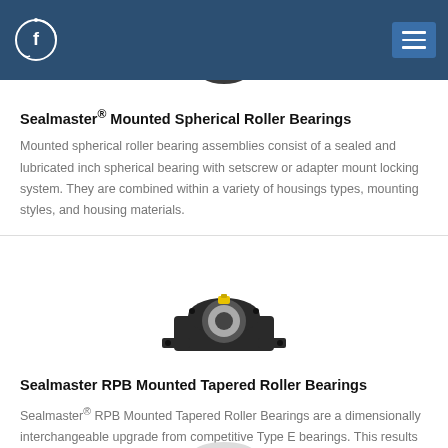Sealmaster logo and navigation header
[Figure (photo): Partial view of a mounted spherical roller bearing housing, dark colored, appearing at the top center of the page, partially obscured by the header bar]
Sealmaster® Mounted Spherical Roller Bearings
Mounted spherical roller bearing assemblies consist of a sealed and lubricated inch spherical bearing with setscrew or adapter mount locking system. They are combined within a variety of housings types, mounting styles, and housing materials.
[Figure (photo): Black mounted tapered roller bearing in a pillow block housing (RPB style), shown in 3/4 view on white background]
Sealmaster RPB Mounted Tapered Roller Bearings
Sealmaster® RPB Mounted Tapered Roller Bearings are a dimensionally interchangeable upgrade from competitive Type E bearings. This results in increased performance.
[Figure (photo): Partial view of another bearing product at bottom of page, metallic silver/gray color, cropped]